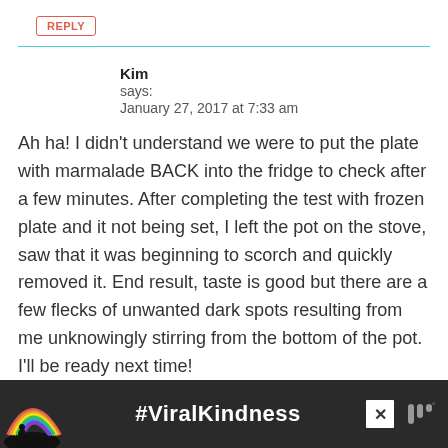REPLY
Kim
says:
January 27, 2017 at 7:33 am
Ah ha! I didn’t understand we were to put the plate with marmalade BACK into the fridge to check after a few minutes. After completing the test with frozen plate and it not being set, I left the pot on the stove, saw that it was beginning to scorch and quickly removed it. End result, taste is good but there are a few flecks of unwanted dark spots resulting from me unknowingly stirring from the bottom of the pot. I’ll be ready next time!
[Figure (infographic): Advertisement banner showing a rainbow illustration and the text #ViralKindness with a close button and Pandora logo]